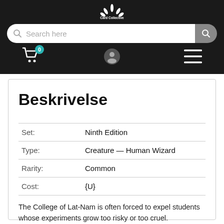[Figure (logo): Card Collective logo with lotus/flower motif on dark background]
[Figure (screenshot): Search bar with magnifying glass icon and search button on dark background]
[Figure (infographic): Navigation icons: shopping cart with badge showing 0, user profile icon, hamburger menu]
Beskrivelse
| Set: | Ninth Edition |
| Type: | Creature — Human Wizard |
| Rarity: | Common |
| Cost: | {U} |
The College of Lat-Nam is often forced to expel students whose experiments grow too risky or too cruel.